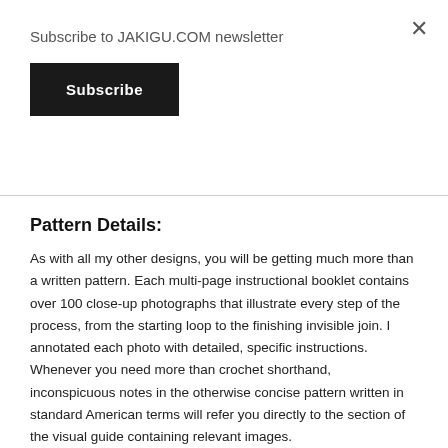Subscribe to JAKIGU.COM newsletter
Subscribe
×
Pattern Details:
As with all my other designs, you will be getting much more than a written pattern. Each multi-page instructional booklet contains over 100 close-up photographs that illustrate every step of the process, from the starting loop to the finishing invisible join. I annotated each photo with detailed, specific instructions. Whenever you need more than crochet shorthand, inconspicuous notes in the otherwise concise pattern written in standard American terms will refer you directly to the section of the visual guide containing relevant images.